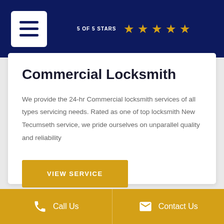5 OF 5 STARS ★★★★★
Commercial Locksmith
We provide the 24-hr Commercial locksmith services of all types servicing needs. Rated as one of top locksmith New Tecumseth service, we pride ourselves on unparallel quality and reliability
VIEW SERVICE
Call Us   Contact Us